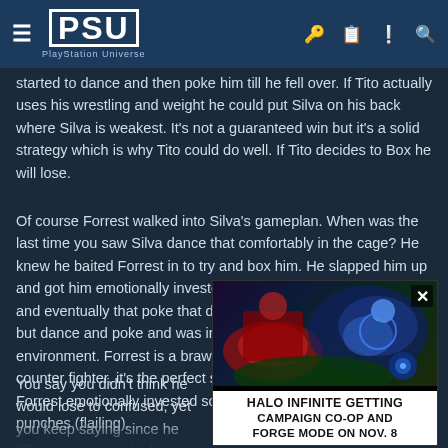PSU - PlayStation Universe
started to dance and then poke him till he fell over. If Tito actually uses his wrestling and weight he could put Silva on his back where Silva is weakest. It's not a guaranteed win but it's a solid strategy which is why Tito could do well. If Tito decides to Box he will lose.
Of course Forrest walked into Silva's gameplan. When was the last time you saw Silva dance that comfortably in the cage? He knew he baited Forrest in to try and box him. He slapped him up and got him emotionally invested. After that it was more dancing and eventually that poke that dropped Forrest. Silva did nothing but dance and poke and was incredibly comfortable in that environment. Forrest is a brawler and Silva is an amazing counter fighter, it's the perfect setup for Silva. Silva just had Forrest emotionally invested so he would default to throwing punches (flailing).
You say you didn't think he would lose to confused, yet you keep saying since he Silva was one of the best fighters since most of his opponents, the destruction o was never a technically advanced fight fighting Forrest doesn't make you. The l
[Figure (screenshot): Advertisement overlay for Halo Infinite showing 'HALO INFINITE GETTING CAMPAIGN CO-OP AND FORGE MODE ON NOV. 8' with game imagery and a close button]